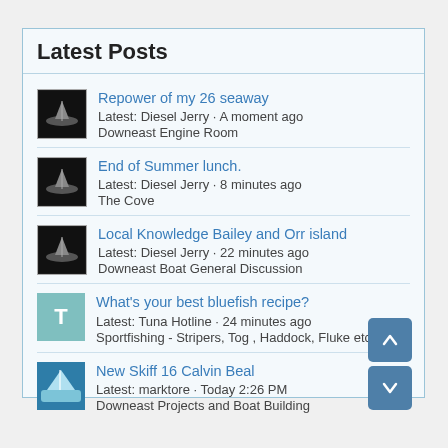Latest Posts
Repower of my 26 seaway
Latest: Diesel Jerry · A moment ago
Downeast Engine Room
End of Summer lunch.
Latest: Diesel Jerry · 8 minutes ago
The Cove
Local Knowledge Bailey and Orr island
Latest: Diesel Jerry · 22 minutes ago
Downeast Boat General Discussion
What's your best bluefish recipe?
Latest: Tuna Hotline · 24 minutes ago
Sportfishing - Stripers, Tog , Haddock, Fluke etc
New Skiff 16 Calvin Beal
Latest: marktore · Today 2:26 PM
Downeast Projects and Boat Building